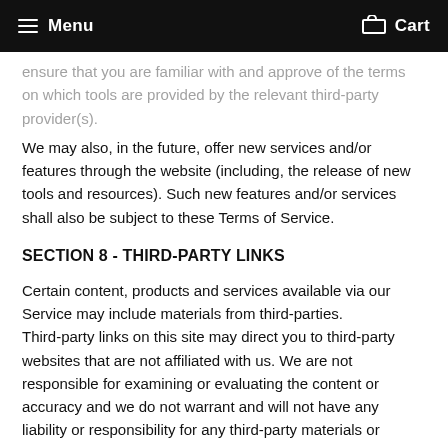Menu  Cart
ensure that you are familiar with and approve of the terms on which tools are provided by the relevant third-party provider(s).
We may also, in the future, offer new services and/or features through the website (including, the release of new tools and resources). Such new features and/or services shall also be subject to these Terms of Service.
SECTION 8 - THIRD-PARTY LINKS
Certain content, products and services available via our Service may include materials from third-parties. Third-party links on this site may direct you to third-party websites that are not affiliated with us. We are not responsible for examining or evaluating the content or accuracy and we do not warrant and will not have any liability or responsibility for any third-party materials or websites, or